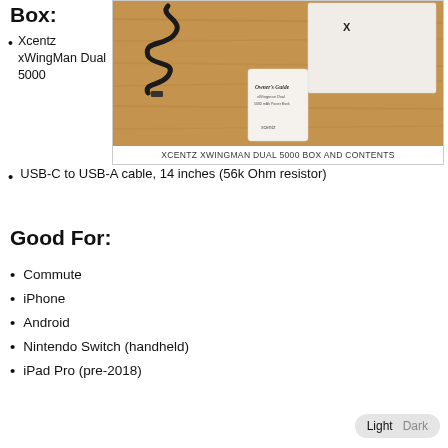Box:
Xcentz xWingMan Dual 5000
[Figure (photo): Photo of Xcentz XWingman Dual 5000 box and contents on a wooden surface, showing the device box, USB cable, and owner's guide booklet]
XCENTZ XWINGMAN DUAL 5000 BOX AND CONTENTS
USB-C to USB-A cable, 14 inches (56k Ohm resistor)
Good For:
Commute
iPhone
Android
Nintendo Switch (handheld)
iPad Pro (pre-2018)